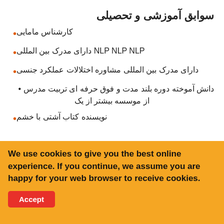سوابق آموزشی و تحصیلی
کارشناس مامایی
NLP NLP NLP دارای مدرک بین المللی
دارای مدرک بین المللی مشاوره اختلالات عملکرد جنسی
دانش آموخته دوره بلند مدت و فوق حرفه ای تربیت مدرس از موسسه بیشتر از یک
نویسنده کتاب آشتی با خشم
We use cookies to give you the best online experience. If you continue, we assume you are happy for your web browser to receive cookies.
Accept